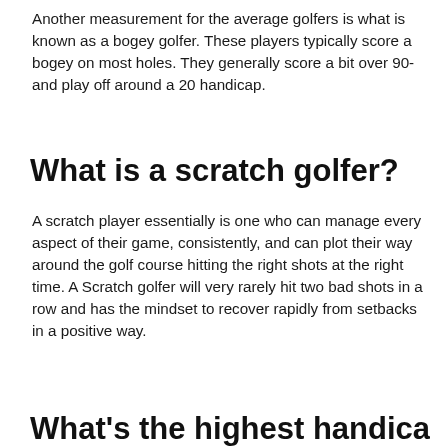Another measurement for the average golfers is what is known as a bogey golfer. These players typically score a bogey on most holes. They generally score a bit over 90- and play off around a 20 handicap.
What is a scratch golfer?
A scratch player essentially is one who can manage every aspect of their game, consistently, and can plot their way around the golf course hitting the right shots at the right time. A Scratch golfer will very rarely hit two bad shots in a row and has the mindset to recover rapidly from setbacks in a positive way.
What's the highest handicap